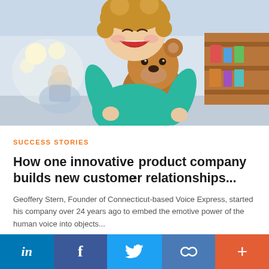[Figure (photo): A happy young child with curly hair wearing a teal shirt, hugging a brown teddy bear and laughing. Background shows a classroom or play room with shelves and another child.]
SUCCESS STORIES
How one innovative product company builds new customer relationships...
Geoffery Stern, Founder of Connecticut-based Voice Express, started his company over 24 years ago to embed the emotive power of the human voice into objects...